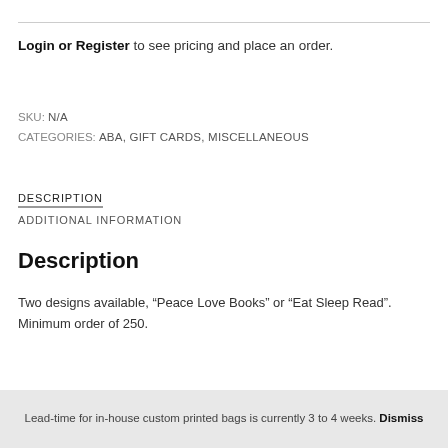Login or Register to see pricing and place an order.
SKU: N/A
CATEGORIES: ABA, GIFT CARDS, MISCELLANEOUS
DESCRIPTION
ADDITIONAL INFORMATION
Description
Two designs available, “Peace Love Books” or “Eat Sleep Read”. Minimum order of 250.
Lead-time for in-house custom printed bags is currently 3 to 4 weeks. Dismiss